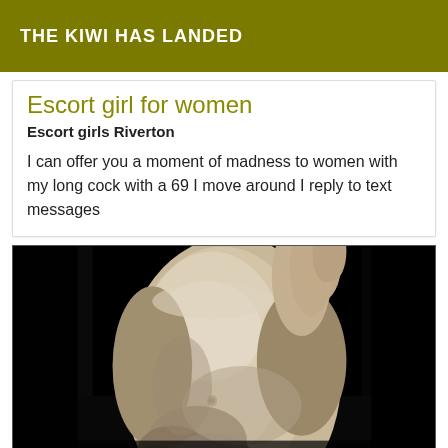THE KIWI HAS LANDED
Escort girl for women
Escort girls Riverton
I can offer you a moment of madness to women with my long cock with a 69 I move around I reply to text messages
[Figure (photo): Black and white photograph of a male torso, hands visible, against a dark background]